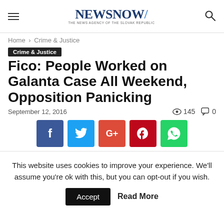NEWSNOW THE NEWS AGENCY OF THE SLOVAK REPUBLIC
Home › Crime & Justice
Crime & Justice
Fico: People Worked on Galanta Case All Weekend, Opposition Panicking
September 12, 2016   145   0
[Figure (other): Social share buttons: Facebook, Twitter, Google+, Pinterest, WhatsApp]
This website uses cookies to improve your experience. We'll assume you're ok with this, but you can opt-out if you wish. Accept  Read More